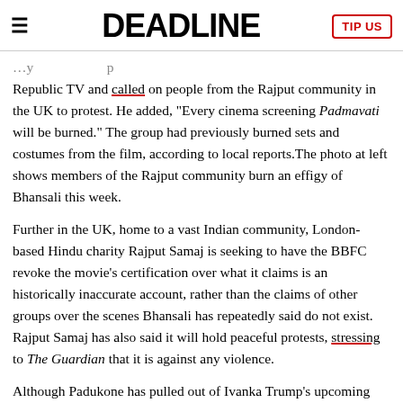DEADLINE
Republic TV and called on people from the Rajput community in the UK to protest. He added, "Every cinema screening Padmavati will be burned." The group had previously burned sets and costumes from the film, according to local reports.The photo at left shows members of the Rajput community burn an effigy of Bhansali this week.
Further in the UK, home to a vast Indian community, London-based Hindu charity Rajput Samaj is seeking to have the BBFC revoke the movie's certification over what it claims is an historically inaccurate account, rather than the claims of other groups over the scenes Bhansali has repeatedly said do not exist. Rajput Samaj has also said it will hold peaceful protests, stressing to The Guardian that it is against any violence.
Although Padukone has pulled out of Ivanka Trump's upcoming Global Entrepreneurship Summit in Hyderabad, she did attend last